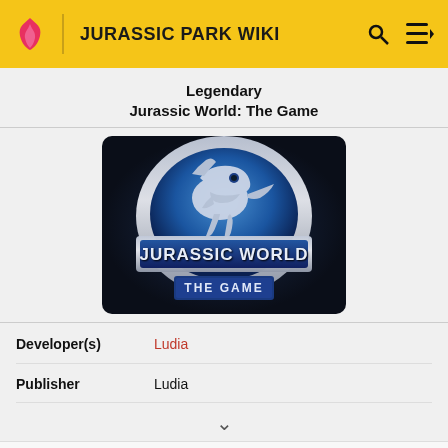JURASSIC PARK WIKI
Legendary
Jurassic World: The Game
[Figure (logo): Jurassic World: The Game logo featuring a T-Rex silhouette in a blue circular medallion with 'JURASSIC WORLD THE GAME' text]
| Developer(s) | Ludia |
| Publisher | Ludia |
Jurassic World: The Game is an application produced by